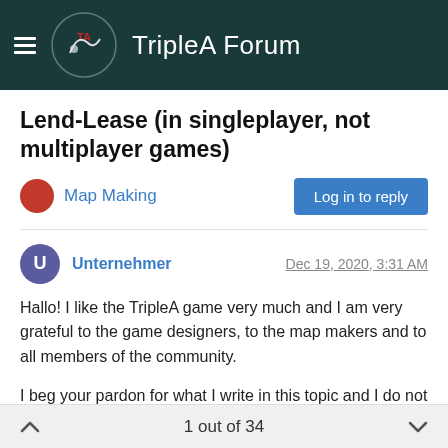TripleA Forum
Lend-Lease (in singleplayer, not multiplayer games)
Map Making
Log in to reply
Unternehmer    Dec 19, 2020, 3:31 AM
Hallo! I like the TripleA game very much and I am very grateful to the game designers, to the map makers and to all members of the community.
I beg your pardon for what I write in this topic and I do not want to underestimate the efforts of the AI designers, map makers and all other contributors of our TripleA community.
But please explain several things to me. I don't have much experience in the game, but after I had started the creation of my first global mod I came to the conclusion that I don't understand
1 out of 34